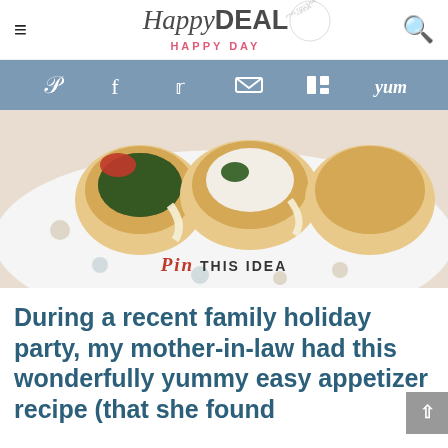HappyDEAL HAPPY DAY
[Figure (infographic): Social media share bar with icons for Pinterest, Facebook, Twitter, Email, Flipboard, and Yummly on a steel blue background]
[Figure (photo): Close-up photo of crescent roll appetizer cups filled with spinach and tomato on a polka-dot plate, with a 'Pin This Idea' overlay]
During a recent family holiday party, my mother-in-law had this wonderfully yummy easy appetizer recipe (that she found